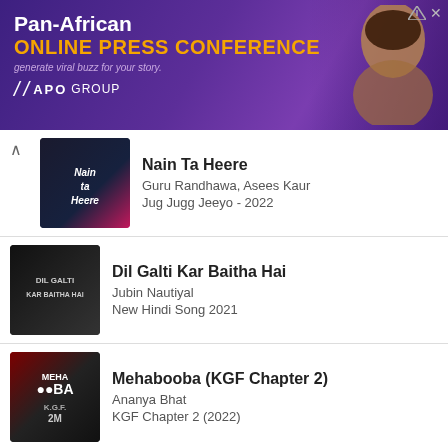[Figure (infographic): Pan-African Online Press Conference advertisement banner with APO Group logo, purple background, and a person's face on the right. Text: 'Pan-African ONLINE PRESS CONFERENCE generate viral buzz for your story. APO GROUP']
Nain Ta Heere | Guru Randhawa, Asees Kaur | Jug Jugg Jeeyo - 2022
Dil Galti Kar Baitha Hai | Jubin Nautiyal | New Hindi Song 2021
Mehabooba (KGF Chapter 2) | Ananya Bhat | KGF Chapter 2 (2022)
[Figure (infographic): Iberis Capital advertisement banner. Text: 'LEADING FUNDS FOR PORTUGUESE GOLDEN VISA. SCHEDULE A FREE CONSULTATION'. Dark background with city skyline on right.]
Arijit Singh | Trending...